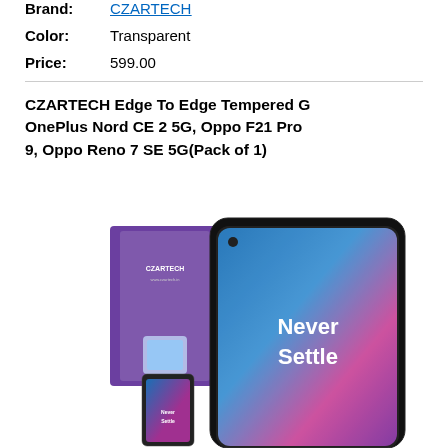Brand: CZARTECH
Color: Transparent
Price: 599.00
CZARTECH Edge To Edge Tempered G OnePlus Nord CE 2 5G, Oppo F21 Pro 9, Oppo Reno 7 SE 5G(Pack of 1)
[Figure (photo): Product image showing a CZARTECH tempered glass screen protector in purple packaging next to a OnePlus smartphone displaying 'Never Settle' on screen. A smaller inset image of the phone is also visible.]